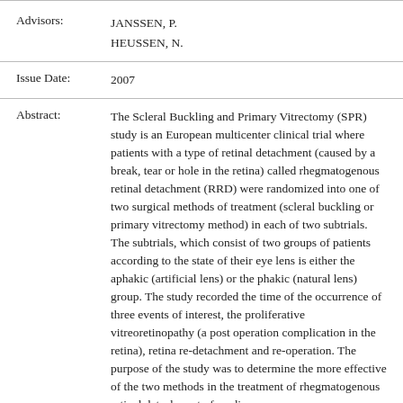| Advisors: | JANSSEN, P.
HEUSSEN, N. |
| Issue Date: | 2007 |
| Abstract: | The Scleral Buckling and Primary Vitrectomy (SPR) study is an European multicenter clinical trial where patients with a type of retinal detachment (caused by a break, tear or hole in the retina) called rhegmatogenous retinal detachment (RRD) were randomized into one of two surgical methods of treatment (scleral buckling or primary vitrectomy method) in each of two subtrials. The subtrials, which consist of two groups of patients according to the state of their eye lens is either the aphakic (artificial lens) or the phakic (natural lens) group. The study recorded the time of the occurrence of three events of interest, the proliferative vitreoretinopathy (a post operation complication in the retina), retina re-detachment and re-operation. The purpose of the study was to determine the more effective of the two methods in the treatment of rhegmatogenous retinal detachment of medium |